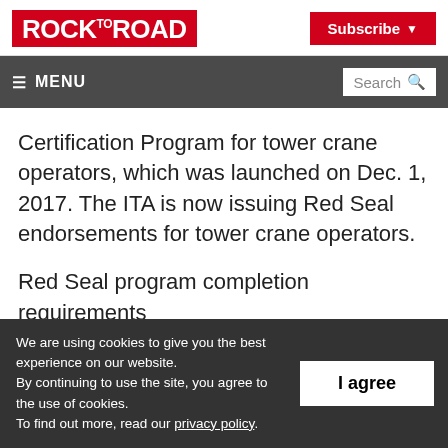ROCK to ROAD | Subscribe
≡ MENU | Search
Certification Program for tower crane operators, which was launched on Dec. 1, 2017. The ITA is now issuing Red Seal endorsements for tower crane operators.
Red Seal program completion requirements
We are using cookies to give you the best experience on our website. By continuing to use the site, you agree to the use of cookies. To find out more, read our privacy policy.